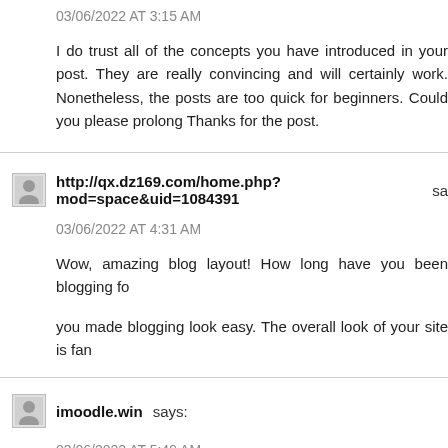03/06/2022 AT 3:15 AM
I do trust all of the concepts you have introduced in your post. They are really convincing and will certainly work. Nonetheless, the posts are too quick for beginners. Could you please prolong Thanks for the post.
http://qx.dz169.com/home.php?mod=space&uid=1084391 sa
03/06/2022 AT 4:31 AM
Wow, amazing blog layout! How long have you been blogging fo
you made blogging look easy. The overall look of your site is fan
imoodle.win says:
03/06/2022 AT 5:49 AM